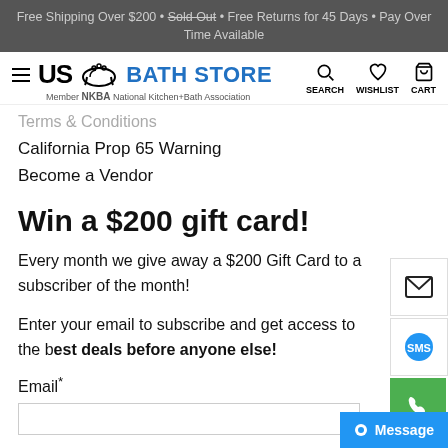Free Shipping Over $200 • Sold Out • Free Returns for 45 Days • Pay Over Time Available
[Figure (logo): US Bath Store logo with hamburger menu, search, wishlist, and cart icons. Member NKBA National Kitchen+Bath Association.]
Terms & Conditions
California Prop 65 Warning
Become a Vendor
Win a $200 gift card!
Every month we give away a $200 Gift Card to a subscriber of the month!
Enter your email to subscribe and get access to the best deals before anyone else!
Email*